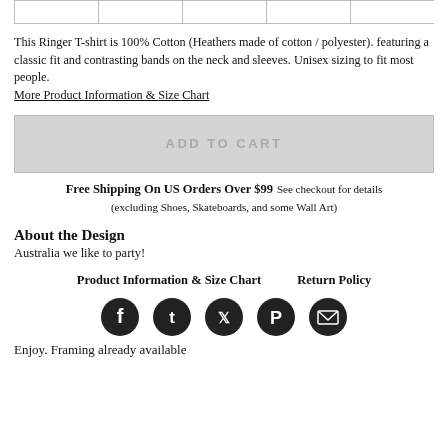[Figure (other): Top row of color/style swatch boxes, partially visible]
This Ringer T-shirt is 100% Cotton (Heathers made of cotton / polyester). featuring a classic fit and contrasting bands on the neck and sleeves. Unisex sizing to fit most people.
More Product Information & Size Chart
[Figure (other): ADD TO CART button (grayed out/disabled)]
Free Shipping On US Orders Over $99 See checkout for details (excluding Shoes, Skateboards, and some Wall Art)
About the Design
Australia we like to party!
Product Information & Size Chart    Return Policy
[Figure (other): Social media icons row: Facebook, Tumblr, Twitter, Pinterest, Email]
Enjoy. Framing already available